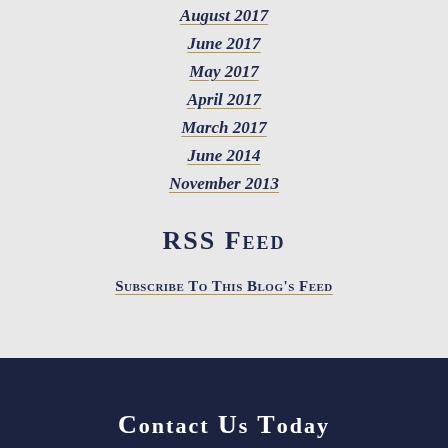August 2017
June 2017
May 2017
April 2017
March 2017
June 2014
November 2013
RSS Feed
Subscribe To This Blog's Feed
Contact Us Today